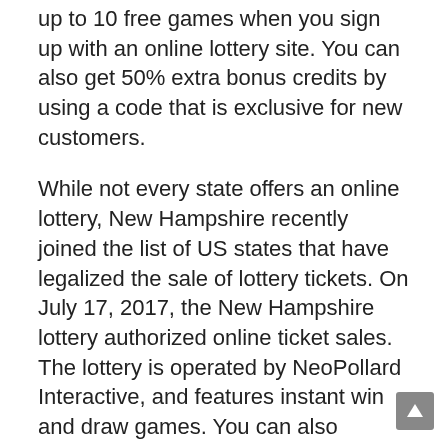up to 10 free games when you sign up with an online lottery site. You can also get 50% extra bonus credits by using a code that is exclusive for new customers.
While not every state offers an online lottery, New Hampshire recently joined the list of US states that have legalized the sale of lottery tickets. On July 17, 2017, the New Hampshire lottery authorized online ticket sales. The lottery is operated by NeoPollard Interactive, and features instant win and draw games. You can also purchase Mega Millions or Powerball tickets through apps such as Jackpocket. Both apps feature quick and custom number selection.
Online lottery agents are based around the world and can be found in most countries. They offer services for players throughout South America, Canada, Europe, Africa, and Asia. Usually, you can play the lottery from the agency's website, but for large jackpots, you have to call the lottery